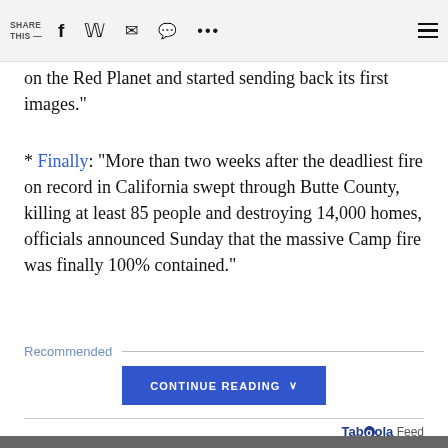SHARE THIS —
on the Red Planet and started sending back its first images."
* Finally: "More than two weeks after the deadliest fire on record in California swept through Butte County, killing at least 85 people and destroying 14,000 homes, officials announced Sunday that the massive Camp fire was finally 100% contained."
Recommended
CONTINUE READING
Taboola Feed
[Figure (photo): Partial photo of a person at the bottom of the page]